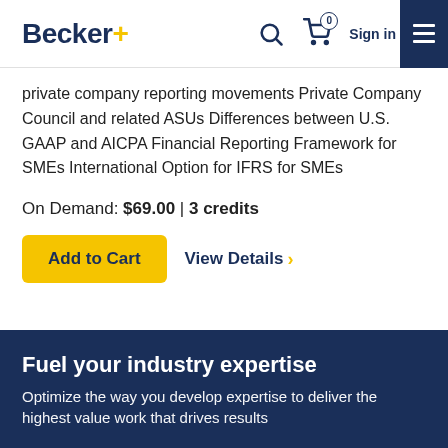Becker+ — Sign in
private company reporting movements Private Company Council and related ASUs Differences between U.S. GAAP and AICPA Financial Reporting Framework for SMEs International Option for IFRS for SMEs
On Demand: $69.00 | 3 credits
Add to Cart   View Details
Fuel your industry expertise
Optimize the way you develop expertise to deliver the highest value work that drives results